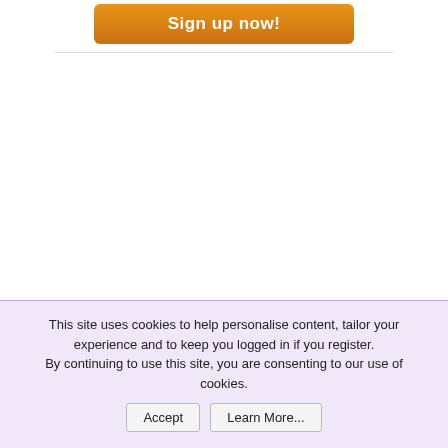[Figure (other): Orange 'Sign up now!' button at top of page]
AD
MEMBERS ONLINE NOW
This site uses cookies to help personalise content, tailor your experience and to keep you logged in if you register. By continuing to use this site, you are consenting to our use of cookies.
Accept  Learn More...